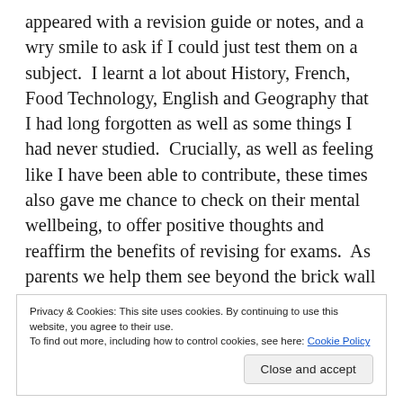appeared with a revision guide or notes, and a wry smile to ask if I could just test them on a subject.  I learnt a lot about History, French, Food Technology, English and Geography that I had long forgotten as well as some things I had never studied.  Crucially, as well as feeling like I have been able to contribute, these times also gave me chance to check on their mental wellbeing, to offer positive thoughts and reaffirm the benefits of revising for exams.  As parents we help them see beyond the brick wall of the revision, especially when their favourite activities have to be put to one side for a
Privacy & Cookies: This site uses cookies. By continuing to use this website, you agree to their use.
To find out more, including how to control cookies, see here: Cookie Policy
Close and accept